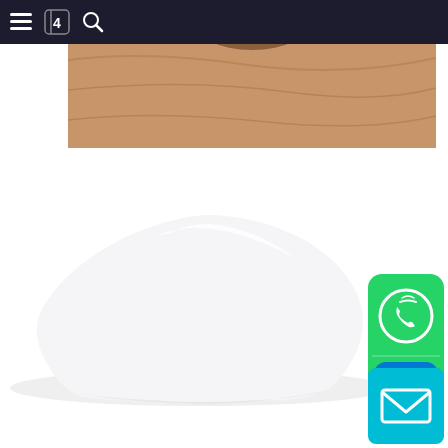[Figure (screenshot): Dark navigation bar with hamburger menu icon, book/logo icon, and search icon on white/dark background]
[Figure (photo): Top portion of a wooden cutting board with a brown bowl containing white powder, cropped at the top]
[Figure (photo): Pile of white powder on a white background, resembling sugar or flour]
[Figure (logo): Green rounded square icon containing a WhatsApp phone logo on top and a blue Skype S logo on bottom]
[Figure (illustration): Cyan/light blue square button with white envelope/mail icon]